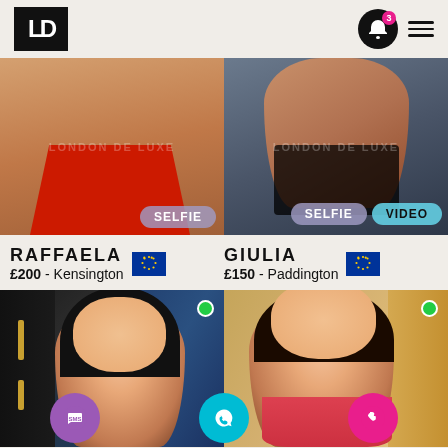LD logo, notification bell with badge 3, hamburger menu
[Figure (photo): Photo of Raffaela showing torso in red swimwear with SELFIE badge]
[Figure (photo): Photo of Giulia in black lingerie with SELFIE and VIDEO badges]
RAFFAELA
£200 - Kensington
GIULIA
£150 - Paddington
[Figure (photo): Photo of dark-haired woman with green online dot, bottom action bar visible]
[Figure (photo): Photo of smiling brunette woman with green online dot]